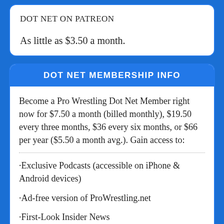DOT NET ON PATREON
As little as $3.50 a month.
DOT NET MEMBERSHIP INFO
Become a Pro Wrestling Dot Net Member right now for $7.50 a month (billed monthly), $19.50 every three months, $36 every six months, or $66 per year ($5.50 a month avg.). Gain access to:
·Exclusive Podcasts (accessible on iPhone & Android devices)
·Ad-free version of ProWrestling.net
·First-Look Insider News